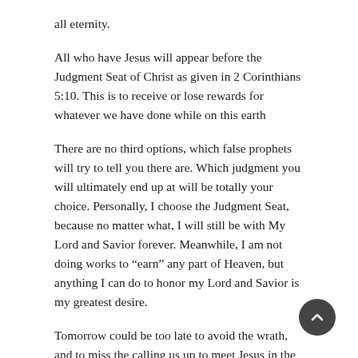all eternity.
All who have Jesus will appear before the Judgment Seat of Christ as given in 2 Corinthians 5:10. This is to receive or lose rewards for whatever we have done while on this earth
There are no third options, which false prophets will try to tell you there are. Which judgment you will ultimately end up at will be totally your choice. Personally, I choose the Judgment Seat, because no matter what, I will still be with My Lord and Savior forever. Meanwhile, I am not doing works to “earn” any part of Heaven, but anything I can do to honor my Lord and Savior is my greatest desire.
Tomorrow could be too late to avoid the wrath, and to miss the calling us up to meet Jesus in the air. Today would be the best time to call on Him to ensure your eternity will be absolutely awesome.